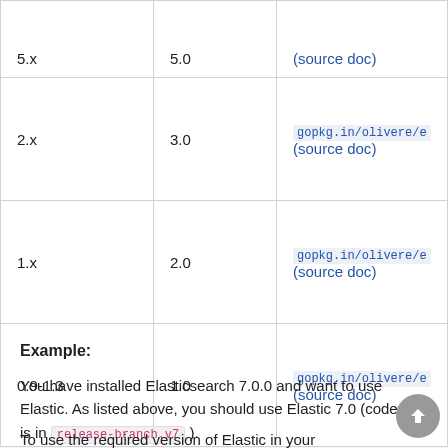| Elasticsearch version | Elastic version | Package URL |
| --- | --- | --- |
| 5.x | 5.0 | gopkg.in/olivere/e… (source doc) |
| 2.x | 3.0 | gopkg.in/olivere/e… (source doc) |
| 1.x | 2.0 | gopkg.in/olivere/e… (source doc) |
| 0.9-1.3 | 1.0 | gopkg.in/olivere/e… (source doc) |
Example:
You have installed Elasticsearch 7.0.0 and want to use Elastic. As listed above, you should use Elastic 7.0 (code is in release-branch.v7 ).
To use the required version of Elastic in your